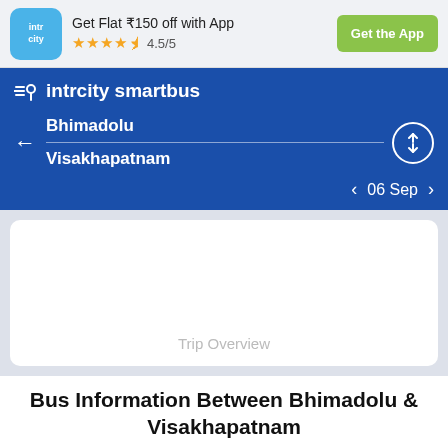[Figure (screenshot): IntrCity logo - blue rounded square with white 'intr city' text]
Get Flat ₹150 off with App
★★★★½ 4.5/5
Get the App
intrcity smartbus
Bhimadolu
Visakhapatnam
06 Sep
Trip Overview
Bus Information Between Bhimadolu & Visakhapatnam